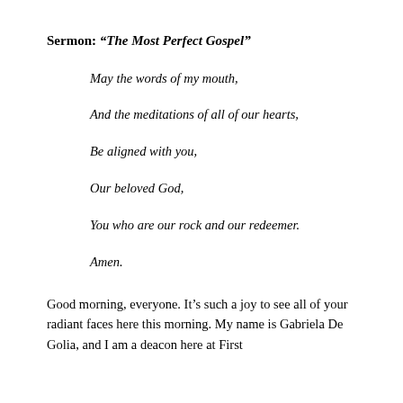Sermon: “The Most Perfect Gospel”
May the words of my mouth,

And the meditations of all of our hearts,

Be aligned with you,

Our beloved God,

You who are our rock and our redeemer.

Amen.
Good morning, everyone. It’s such a joy to see all of your radiant faces here this morning. My name is Gabriela De Golia, and I am a deacon here at First